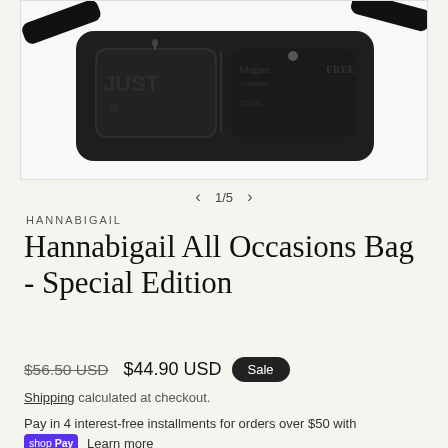[Figure (photo): Black crossbody/fanny pack bag with text pattern print including words like JUST, Magan, FREE, shown on white background]
1/5
HANNABIGAIL
Hannabigail All Occasions Bag - Special Edition
$56.50 USD  $44.90 USD  Sale
Shipping calculated at checkout.
Pay in 4 interest-free installments for orders over $50 with shop Pay Learn more